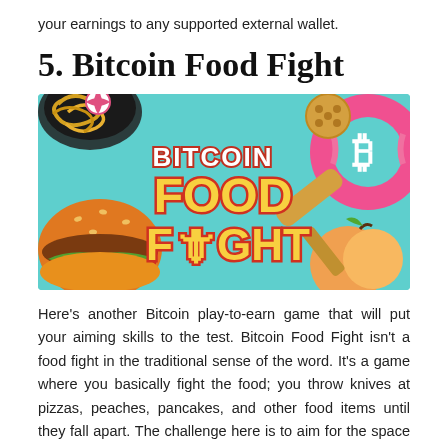your earnings to any supported external wallet.
5. Bitcoin Food Fight
[Figure (illustration): Bitcoin Food Fight game banner with cartoon food items (burger, pizza, peach, donut with Bitcoin logo) on a teal background with colorful 'BITCOIN FOOD FIGHT' text]
Here's another Bitcoin play-to-earn game that will put your aiming skills to the test. Bitcoin Food Fight isn't a food fight in the traditional sense of the word. It's a game where you basically fight the food; you throw knives at pizzas, peaches, pancakes, and other food items until they fall apart. The challenge here is to aim for the space between